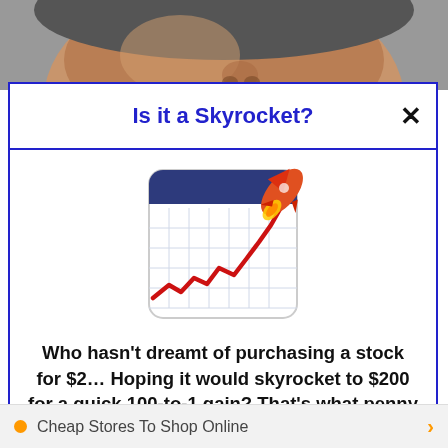[Figure (photo): Partial face/head of a person at the top of the page, cropped photograph]
Is it a Skyrocket?
[Figure (illustration): Calendar/chart icon showing a red zigzag line trending upward sharply with a rocket launching from the top right corner]
Who hasn't dreamt of purchasing a stock for $2… Hoping it would skyrocket to $200 for a quick 100-to-1 gain? That's what penny stocks can do sometimes. Check out the 4 penny stocks on our watchlist here.
>>> See The List <<<
Cheap Stores To Shop Online